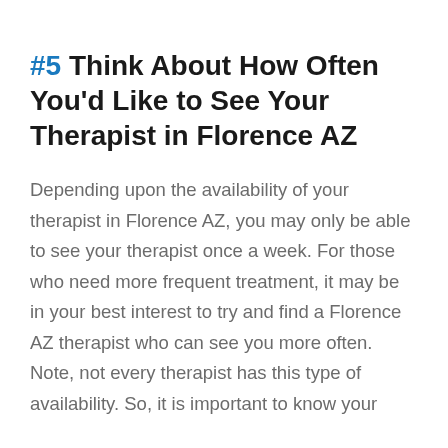#5 Think About How Often You'd Like to See Your Therapist in Florence AZ
Depending upon the availability of your therapist in Florence AZ, you may only be able to see your therapist once a week. For those who need more frequent treatment, it may be in your best interest to try and find a Florence AZ therapist who can see you more often. Note, not every therapist has this type of availability. So, it is important to know your